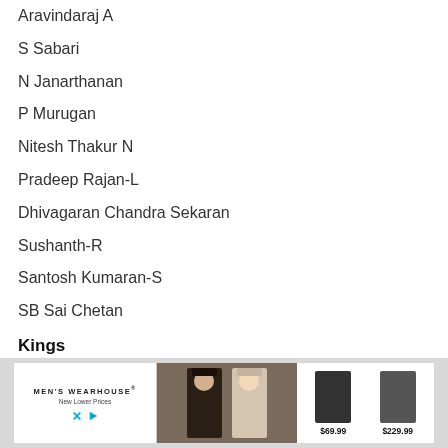Aravindaraj A
S Sabari
N Janarthanan
P Murugan
Nitesh Thakur N
Pradeep Rajan-L
Dhivagaran Chandra Sekaran
Sushanth-R
Santosh Kumaran-S
SB Sai Chetan
Kings
[Figure (other): Advertisement for Men's Wearhouse showing suits priced at $69.99 and $229.99]